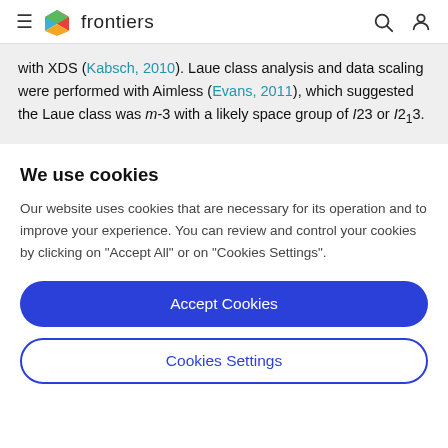≡  frontiers  🔍  👤
with XDS (Kabsch, 2010). Laue class analysis and data scaling were performed with Aimless (Evans, 2011), which suggested the Laue class was m-3 with a likely space group of I23 or I2₁3.
We use cookies
Our website uses cookies that are necessary for its operation and to improve your experience. You can review and control your cookies by clicking on "Accept All" or on "Cookies Settings".
Accept Cookies
Cookies Settings